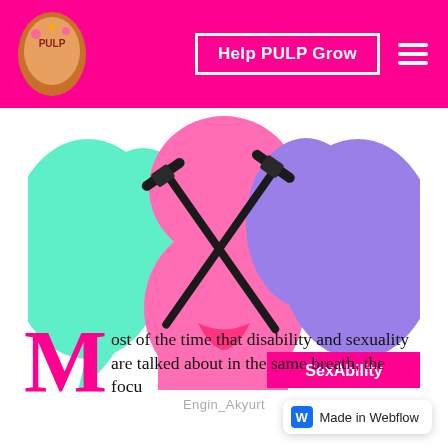Help PULP Grow
[Figure (illustration): Colorful artistic illustration of three face profiles in mint green, hot pink, and purple colors, with two black crutches/canes crossing in an X shape over the faces. A pink label reading 'SexAbility' appears in the lower right corner.]
Engin_Akyurt
Most of the time that disability and sexuality are talked about in the same breath, the focus...